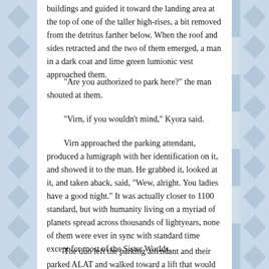buildings and guided it toward the landing area at the top of one of the taller high-rises, a bit removed from the detritus farther below. When the roof and sides retracted and the two of them emerged, a man in a dark coat and lime green lumionic vest approached them.
“Are you authorized to park here?” the man shouted at them.
“Virn, if you wouldn’t mind,” Kyora said.
Virn approached the parking attendant, produced a lumigraph with her identification on it, and showed it to the man. He grabbed it, looked at it, and taken aback, said, “Wew, alright. You ladies have a good night.” It was actually closer to 1100 standard, but with humanity living on a myriad of planets spread across thousands of lightyears, none of them were ever in sync with standard time except for most of the Sister Worlds.
The duo left the parking attendant and their parked ALAT and walked toward a lift that would take them